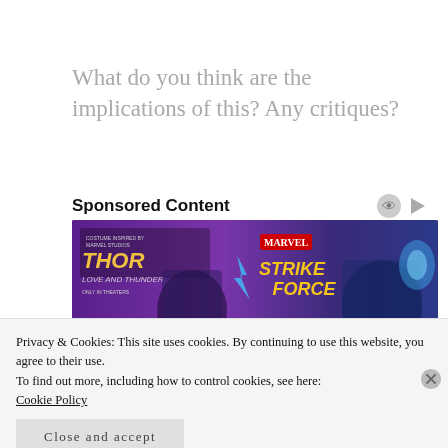What do you think are the implications of this? Any critiques?
Sponsored Content
[Figure (photo): Marvel Strike Force advertisement banner featuring Thor: Love and Thunder themed characters — a female warrior with braids and a silver-armored Thor holding a glowing hammer, with Marvel Strike Force logo and purple/blue background.]
Privacy & Cookies: This site uses cookies. By continuing to use this website, you agree to their use.
To find out more, including how to control cookies, see here:
Cookie Policy
Close and accept